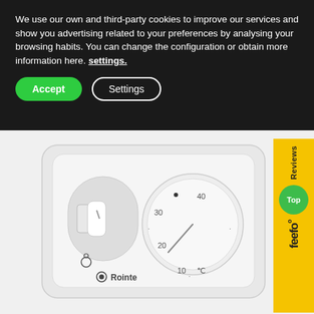We use our own and third-party cookies to improve our services and show you advertising related to your preferences by analysing your browsing habits. You can change the configuration or obtain more information here. settings.
[Figure (screenshot): Cookie consent banner with Accept and Settings buttons on dark background]
[Figure (photo): Rointe thermostat device - white square wall thermostat with rotary dial showing temperature range 10-40°C with Rointe branding]
[Figure (other): Feefo Reviews Top badge on yellow background with green circle]